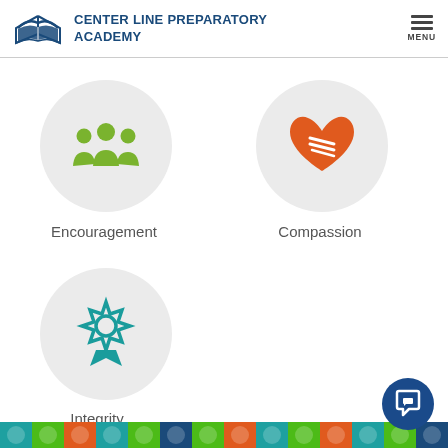[Figure (logo): Open book logo for Center Line Preparatory Academy]
CENTER LINE PREPARATORY ACADEMY
[Figure (infographic): Three green people/group icon inside a light gray circle representing Encouragement]
Encouragement
[Figure (infographic): Red/orange heart with handshake icon inside a light gray circle representing Compassion]
Compassion
[Figure (infographic): Teal/dark cyan award ribbon/badge icon inside a light gray circle representing Integrity]
Integrity
[Figure (other): Dark blue chat button with white chat bubble icon in bottom right corner]
[Figure (other): Colorful decorative footer bar with school-themed pattern icons in green, teal, and orange]